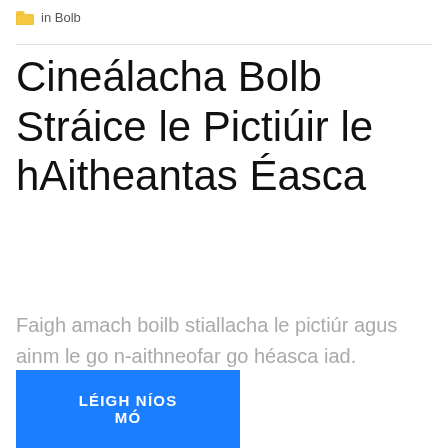in Bolb
Cineálacha Bolb Stráice le Pictiúir le hAitheantas Éasca
Faigh amach boilb stiallacha le pictiúr agus ainm le go n-aithneofar go héasca iad.
LÉIGH NÍOS MÓ